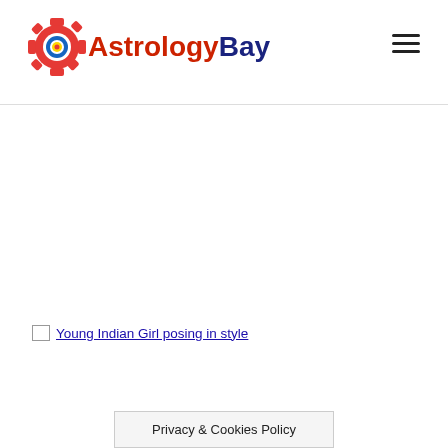[Figure (logo): AstrologyBay logo with gear/sun icon and red 'Astrology' blue 'Bay' text]
[Figure (other): Hamburger menu icon (three horizontal lines) in the top right of the header]
[Figure (photo): Broken image placeholder link reading '[Young Indian Girl posing in style]']
Privacy & Cookies Policy